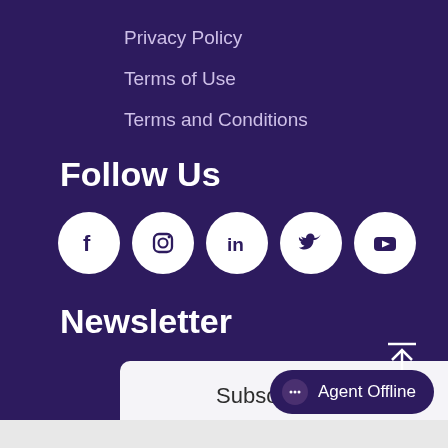Privacy Policy
Terms of Use
Terms and Conditions
Follow Us
[Figure (illustration): Five white circular social media icons: Facebook, Instagram, LinkedIn, Twitter, YouTube]
Newsletter
Subscribe Now
[Figure (illustration): Back to top arrow icon with overline]
Agent Offline